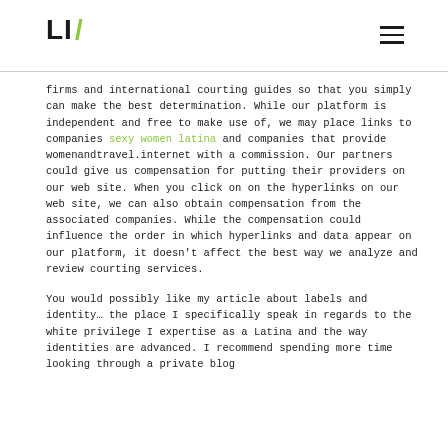LIV [logo with hamburger menu]
firms and international courting guides so that you simply can make the best determination. While our platform is independent and free to make use of, we may place links to companies sexy women latina and companies that provide womenandtravel.internet with a commission. Our partners could give us compensation for putting their providers on our web site. When you click on on the hyperlinks on our web site, we can also obtain compensation from the associated companies. While the compensation could influence the order in which hyperlinks and data appear on our platform, it doesn't affect the best way we analyze and review courting services.
You would possibly like my article about labels and identity… the place I specifically speak in regards to the white privilege I expertise as a Latina and the way identities are advanced. I recommend spending more time looking through a private blog